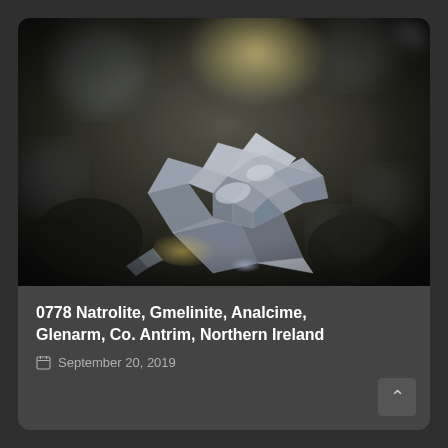[Figure (photo): Macro photograph of Natrolite, Gmelinite, and Analcime mineral crystals from Glenarm, Co. Antrim, Northern Ireland. The image shows translucent cubic/icositetrahedral crystals with bright iridescent reflections against a dark blurred background.]
0778 Natrolite, Gmelinite, Analcime, Glenarm, Co. Antrim, Northern Ireland
September 20, 2019